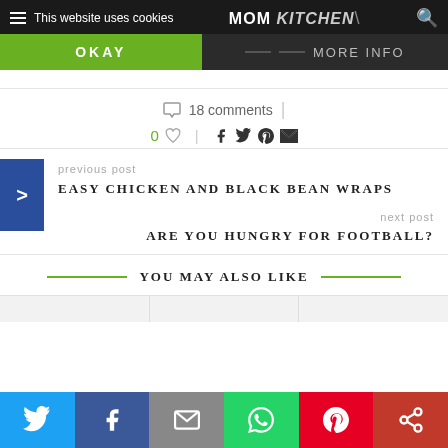This website uses cookies | MOM KITCHEN | OKAY | MORE INFO
18 comments
0 ♡  f  𝕥  𝓟  ✉
previous post
EASY CHICKEN AND BLACK BEAN WRAPS
next post
ARE YOU HUNGRY FOR FOOTBALL?
YOU MAY ALSO LIKE
Twitter | Facebook | Email | WhatsApp | Pinterest | More